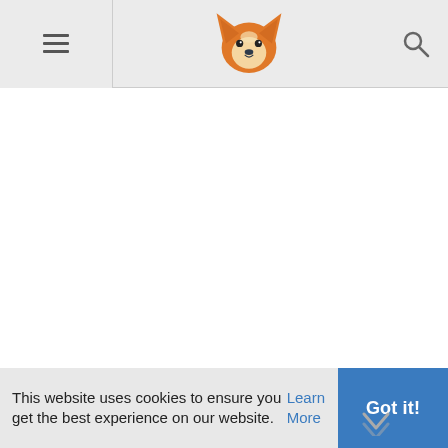[Figure (logo): Corgi dog face logo/icon in orange and white]
This website uses cookies to ensure you get the best experience on our website. Learn More
Got it!